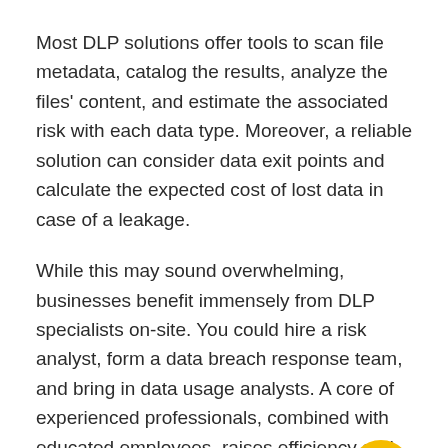Most DLP solutions offer tools to scan file metadata, catalog the results, analyze the files' content, and estimate the associated risk with each data type. Moreover, a reliable solution can consider data exit points and calculate the expected cost of lost data in case of a leakage.
While this may sound overwhelming, businesses benefit immensely from DLP specialists on-site. You could hire a risk analyst, form a data breach response team, and bring in data usage analysts. A core of experienced professionals, combined with educated employees, raises efficiency and yields better DLP results.
Lastly, every solid DLP plan takes time and effort.